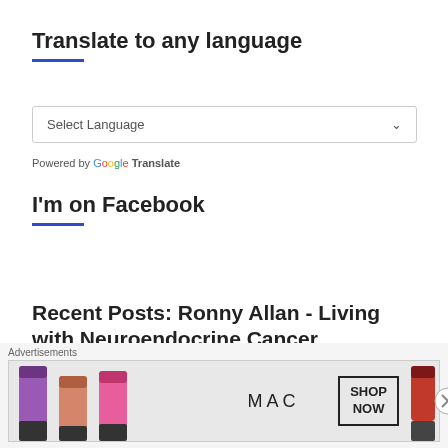Translate to any language
[Figure (screenshot): Select Language dropdown widget with chevron arrow]
Powered by Google Translate
I'm on Facebook
Recent Posts: Ronny Allan - Living with Neuroendocrine Cancer
Advertisements
[Figure (photo): MAC cosmetics advertisement showing lipsticks and SHOP NOW button]